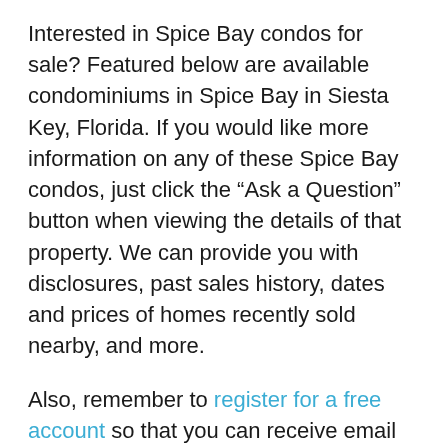Interested in Spice Bay condos for sale? Featured below are available condominiums in Spice Bay in Siesta Key, Florida. If you would like more information on any of these Spice Bay condos, just click the “Ask a Question” button when viewing the details of that property. We can provide you with disclosures, past sales history, dates and prices of homes recently sold nearby, and more.
Also, remember to register for a free account so that you can receive email alerts whenever new Spice Bay condos come on the market or when there are